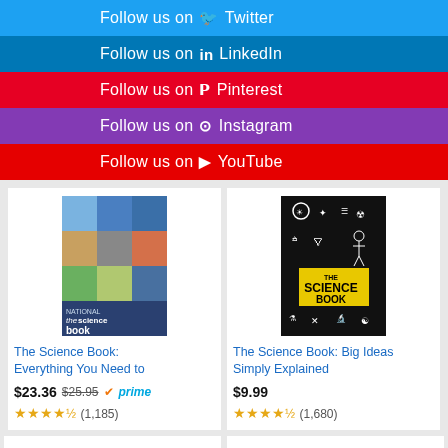Follow us on Twitter
Follow us on LinkedIn
Follow us on Pinterest
Follow us on Instagram
Follow us on YouTube
[Figure (other): Book cover: The Science Book: Everything You Need to Know]
The Science Book: Everything You Need to
$23.36 $25.95 prime
★★★★½ (1,185)
[Figure (other): Book cover: The Science Book: Big Ideas Simply Explained]
The Science Book: Big Ideas Simply Explained
$9.99
★★★★½ (1,680)